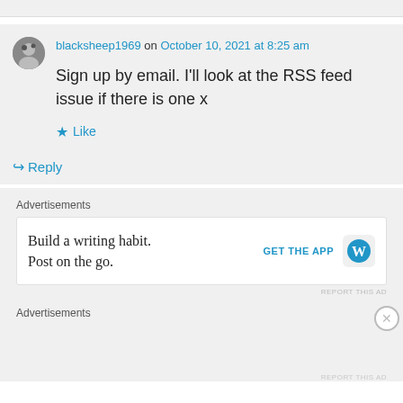blacksheep1969 on October 10, 2021 at 8:25 am
Sign up by email. I'll look at the RSS feed issue if there is one x
★ Like
↪ Reply
Advertisements
[Figure (screenshot): Advertisement banner: 'Build a writing habit. Post on the go.' with GET THE APP button and WordPress logo]
REPORT THIS AD
Advertisements
REPORT THIS AD